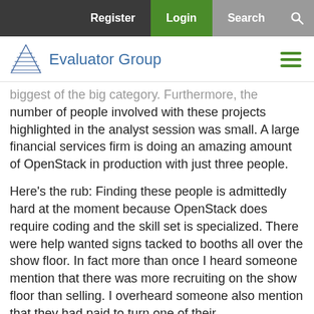Register | Login | Search
[Figure (logo): Evaluator Group logo with triangle pyramid icon and text 'Evaluator Group' in blue, plus hamburger menu icon on the right]
biggest of the big category. Furthermore, the number of people involved with these projects highlighted in the analyst session was small. A large financial services firm is doing an amazing amount of OpenStack in production with just three people.
Here's the rub: Finding these people is admittedly hard at the moment because OpenStack does require coding and the skill set is specialized. There were help wanted signs tacked to booths all over the show floor. In fact more than once I heard someone mention that there was more recruiting on the show floor than selling. I overheard someone also mention that they had paid to turn one of their